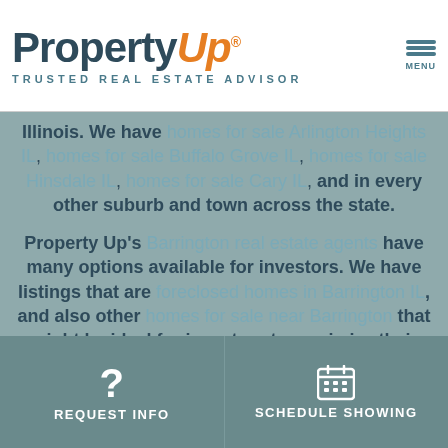[Figure (logo): PropertyUp logo with tagline TRUSTED REAL ESTATE ADVISOR]
Illinois. We have homes for sale Arlington Heights IL, homes for sale Buffalo Grove IL, homes for sale Hinsdale IL, homes for sale Cary IL, and in every other suburb and town across the state.

Property Up's Barrington real estate agents have many options available for investors. We have listings that are foreclosed homes in Barrington IL, and also other homes for sale near Barrington that might be ideal for investors to maximize their profits. Our Realtors are ready to help you find your next Barrington Chicago real estate investment
REQUEST INFO | SCHEDULE SHOWING